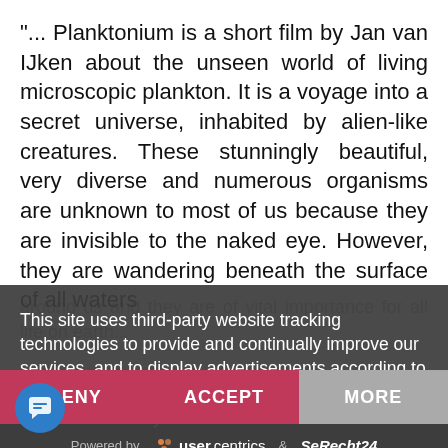"... Planktonium is a short film by Jan van IJken about the unseen world of living microscopic plankton. It is a voyage into a secret universe, inhabited by alien-like creatures. These stunningly beautiful, very diverse and numerous organisms are unknown to most of us because they are invisible to the naked eye. However, they are wandering beneath the surface of all waters
around us and they are of vital importance for all life on earth...
This site uses third-party website tracking technologies to provide and continually improve our services, and to display advertisements according to users' interests. I agree and may revoke or change my consent at any time with effect for the future.
DENY
ACCEPT
MORE
Powered by  usercentrics  &  eRecht24
Imprint | Privacy Policy
Renowned Norwegian artist Jana Winderen made a sound composition for the film. She is recording audio environments and creatures which are too faint for the